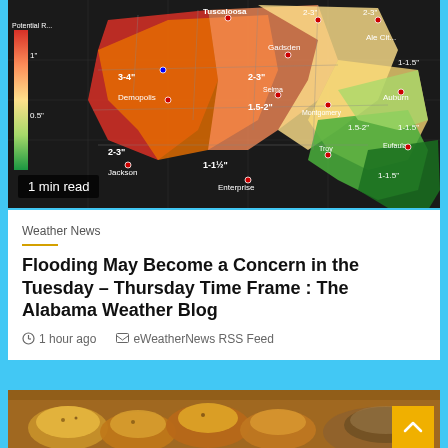[Figure (map): Alabama rainfall forecast map showing rainfall amounts by region (2-3 inches in western areas, 1-2 inches in central, 1-1.5 inches in eastern/southeastern areas). Color-coded with red/orange for higher amounts and green for lower amounts. Labeled cities include Tuscaloosa, Anniston, Gadsden, Decatur, Montgomery, Auburn, Demopolis, Selma, Dothan, Eufaula, Jackson, Enterprise.]
1 min read
Weather News
Flooding May Become a Concern in the Tuesday – Thursday Time Frame : The Alabama Weather Blog
1 hour ago   eWeatherNews RSS Feed
[Figure (photo): Close-up food photo showing golden-brown baked or fried dough items (possibly pretzel bites or rolls) with a dipping bowl in the background, warm amber tones.]